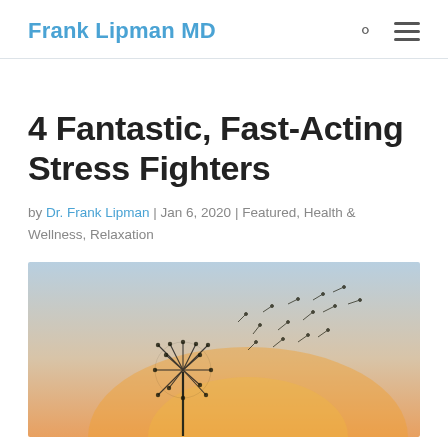Frank Lipman MD
4 Fantastic, Fast-Acting Stress Fighters
by Dr. Frank Lipman | Jan 6, 2020 | Featured, Health & Wellness, Relaxation
[Figure (photo): A dandelion with seeds blowing away against a warm sunset sky (orange and light blue gradient background).]